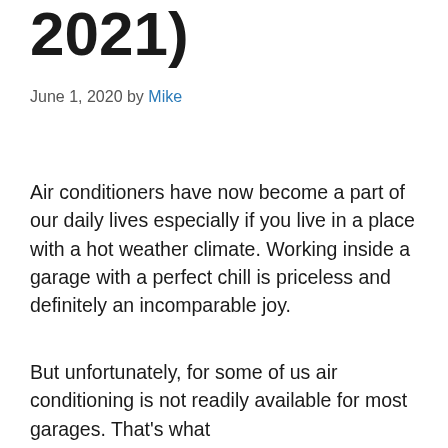2021)
June 1, 2020 by Mike
Air conditioners have now become a part of our daily lives especially if you live in a place with a hot weather climate. Working inside a garage with a perfect chill is priceless and definitely an incomparable joy.
But unfortunately, for some of us air conditioning is not readily available for most garages. That's what